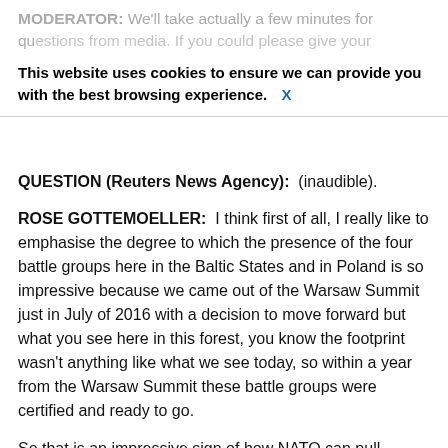MODERATOR: We'll take actually a few minutes for questions from media. If you could please give your name and media outlet.
This website uses cookies to ensure we can provide you with the best browsing experience. X
QUESTION (Reuters News Agency): (inaudible).
ROSE GOTTEMOELLER: I think first of all, I really like to emphasise the degree to which the presence of the four battle groups here in the Baltic States and in Poland is so impressive because we came out of the Warsaw Summit just in July of 2016 with a decision to move forward but what you see here in this forest, you know the footprint wasn't anything like what we see today, so within a year from the Warsaw Summit these battle groups were certified and ready to go.
So that is an impressive sign of how NATO can pull together and work and get something done when it is facing a serious challenge and the threat of aggression.
So we have, I think, truly accomplished a lot and again I want to give credit for that now.